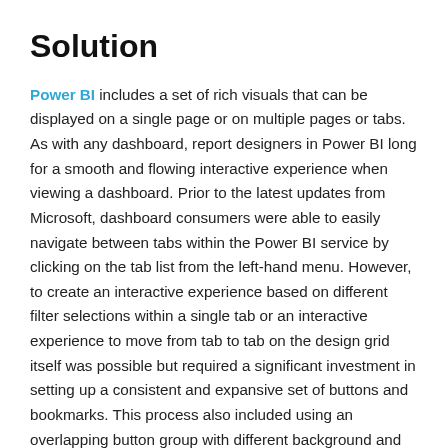Solution
Power BI includes a set of rich visuals that can be displayed on a single page or on multiple pages or tabs. As with any dashboard, report designers in Power BI long for a smooth and flowing interactive experience when viewing a dashboard. Prior to the latest updates from Microsoft, dashboard consumers were able to easily navigate between tabs within the Power BI service by clicking on the tab list from the left-hand menu. However, to create an interactive experience based on different filter selections within a single tab or an interactive experience to move from tab to tab on the design grid itself was possible but required a significant investment in setting up a consistent and expansive set of buttons and bookmarks. This process also included using an overlapping button group with different background and font colors to give the